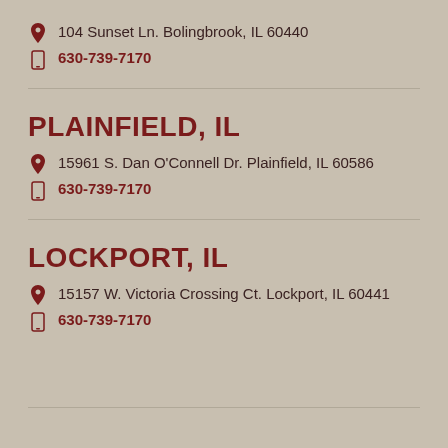104 Sunset Ln. Bolingbrook, IL 60440
630-739-7170
PLAINFIELD, IL
15961 S. Dan O'Connell Dr. Plainfield, IL 60586
630-739-7170
LOCKPORT, IL
15157 W. Victoria Crossing Ct. Lockport, IL 60441
630-739-7170